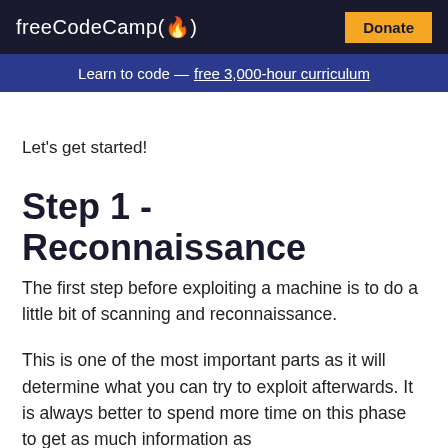freeCodeCamp(🔥)  Donate
Learn to code — free 3,000-hour curriculum
Let's get started!
Step 1 - Reconnaissance
The first step before exploiting a machine is to do a little bit of scanning and reconnaissance.
This is one of the most important parts as it will determine what you can try to exploit afterwards. It is always better to spend more time on this phase to get as much information as